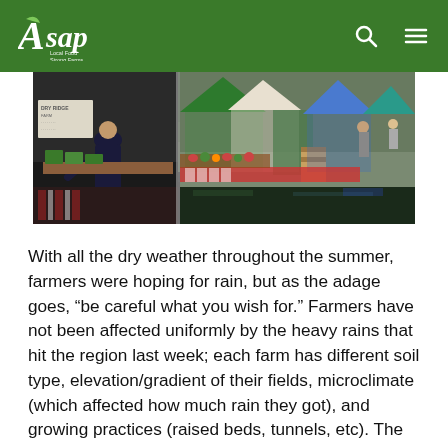ASAP - Local Food, Strong Farms, Healthy Communities
[Figure (photo): Outdoor farmers market scene in the rain; vendor tents visible including green, white, blue, and teal canopies; a person in dark clothing leans over a table on the left; wet pavement visible; a Dry Ridge Farm sign appears on left; stalls with produce visible in background]
With all the dry weather throughout the summer, farmers were hoping for rain, but as the adage goes, “be careful what you wish for.” Farmers have not been affected uniformly by the heavy rains that hit the region last week; each farm has different soil type, elevation/gradient of their fields, microclimate (which affected how much rain they got), and growing practices (raised beds, tunnels, etc). The variation in